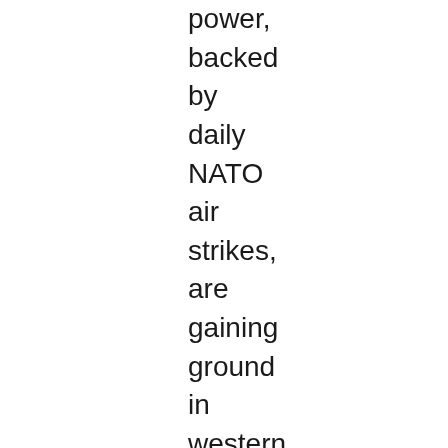power, backed by daily NATO air strikes, are gaining ground in western Libya. During a six-hour drive from the Tunisian border to Tripoli, the Libyan capital